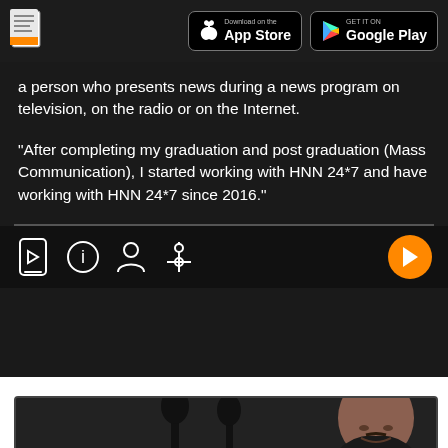App Store / Google Play header with document icon
a person who presents news during a news program on television, on the radio or on the Internet.
"After completing my graduation and post graduation (Mass Communication), I started working with HNN 24*7 and have working with HNN 24*7 since 2016."
[Figure (screenshot): Bottom icon toolbar with phone, info, person, settings icons on left and orange play button on right]
[Figure (photo): Photo of a man with microphones in foreground, partial view at bottom of page]